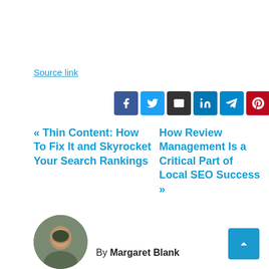Source link
[Figure (other): Social share icons: Facebook (blue), Twitter (light blue), Email (dark), LinkedIn (dark blue), Telegram (teal), Pinterest (red)]
« Thin Content: How To Fix It and Skyrocket Your Search Rankings
How Review Management Is a Critical Part of Local SEO Success »
By Margaret Blank